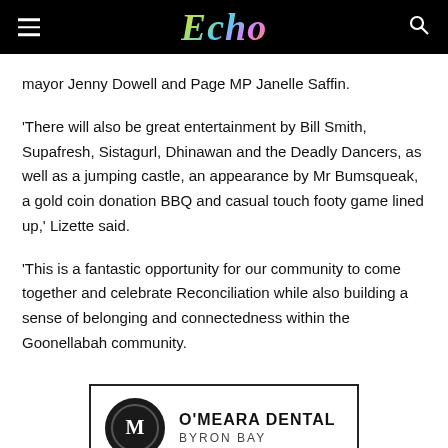Echo
mayor Jenny Dowell and Page MP Janelle Saffin.
'There will also be great entertainment by Bill Smith, Supafresh, Sistagurl, Dhinawan and the Deadly Dancers, as well as a jumping castle, an appearance by Mr Bumsqueak, a gold coin donation BBQ and casual touch footy game lined up,' Lizette said.
'This is a fantastic opportunity for our community to come together and celebrate Reconciliation while also building a sense of belonging and connectedness within the Goonellabah community.
[Figure (logo): O'Meara Dental Byron Bay advertisement with circular M logo on black background]